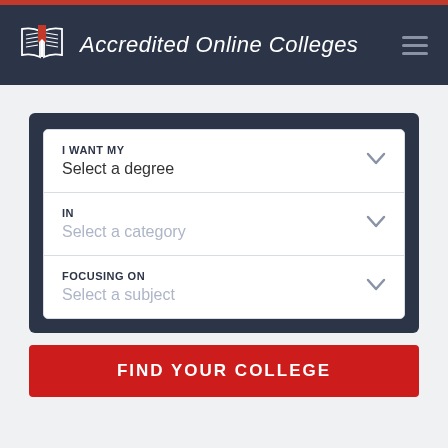[Figure (logo): Accredited Online Colleges logo with open book and red bookmark icon]
Accredited Online Colleges
I WANT MY
Select a degree
IN
Select a category
FOCUSING ON
Select a subject
FIND YOUR COLLEGE